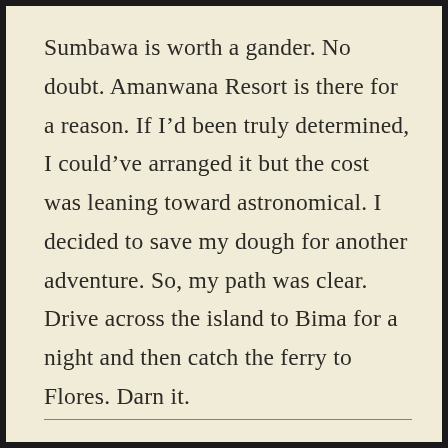Sumbawa is worth a gander. No doubt. Amanwana Resort is there for a reason. If I’d been truly determined, I could’ve arranged it but the cost was leaning toward astronomical. I decided to save my dough for another adventure. So, my path was clear. Drive across the island to Bima for a night and then catch the ferry to Flores. Darn it.